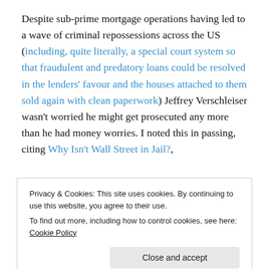Despite sub-prime mortgage operations having led to a wave of criminal repossessions across the US (including, quite literally, a special court system so that fraudulent and predatory loans could be resolved in the lenders' favour and the houses attached to them sold again with clean paperwork) Jeffrey Verschleiser wasn't worried he might get prosecuted any more than he had money worries. I noted this in passing, citing Why Isn't Wall Street in Jail?,
Privacy & Cookies: This site uses cookies. By continuing to use this website, you agree to their use. To find out more, including how to control cookies, see here: Cookie Policy
"That's your whole story right there. Hell, you don't even